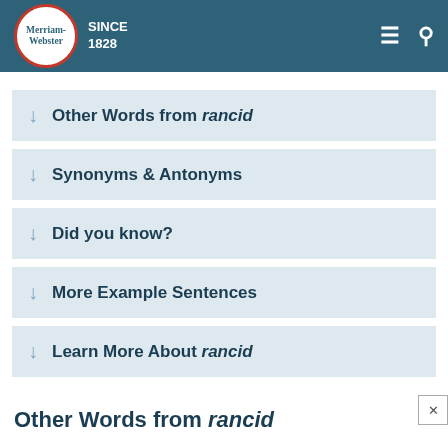[Figure (logo): Merriam-Webster logo with red circle border and 'SINCE 1828' text in white header bar with hamburger menu and search icon]
Other Words from rancid
Synonyms & Antonyms
Did you know?
More Example Sentences
Learn More About rancid
Other Words from rancid